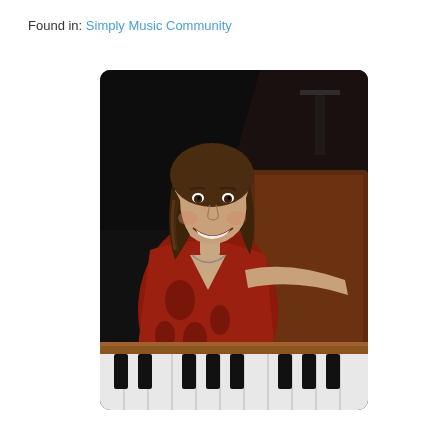Found in: Simply Music Community
[Figure (photo): A smiling woman with brown hair wearing a red patterned blouse, seated at and leaning on a grand piano with black and white keys visible in the foreground. The background is dark with the piano lid visible.]